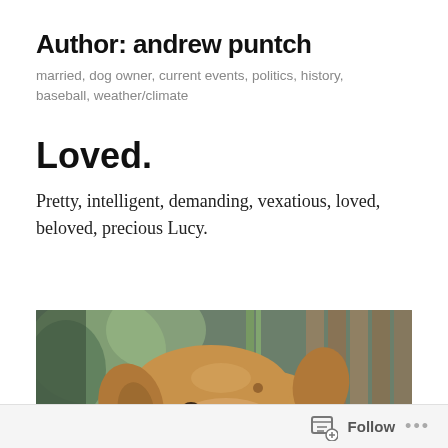Author: andrew puntch
married, dog owner, current events, politics, history, baseball, weather/climate
Loved.
Pretty, intelligent, demanding, vexatious, loved, beloved, precious Lucy.
[Figure (photo): Close-up photo of a tan/golden dog's head peeking up, with a blurred green and wooden fence background]
Follow …